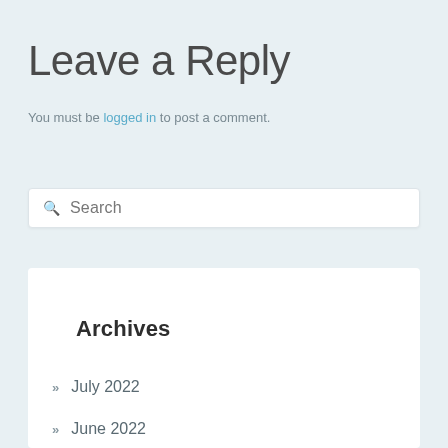Leave a Reply
You must be logged in to post a comment.
Search
Archives
July 2022
June 2022